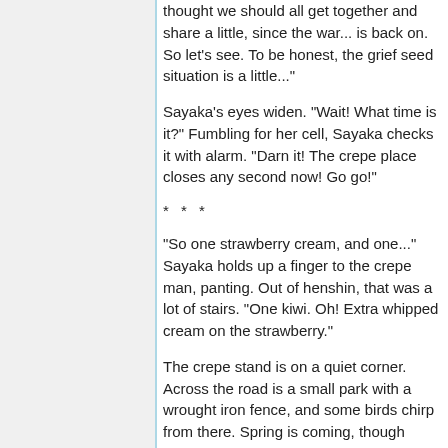thought we should all get together and share a little, since the war... is back on. So let's see. To be honest, the grief seed situation is a little..."
Sayaka's eyes widen. "Wait! What time is it?" Fumbling for her cell, Sayaka checks it with alarm. "Darn it! The crepe place closes any second now! Go go!"
* * *
"So one strawberry cream, and one..." Sayaka holds up a finger to the crepe man, panting. Out of henshin, that was a lot of stairs. "One kiwi. Oh! Extra whipped cream on the strawberry."
The crepe stand is on a quiet corner. Across the road is a small park with a wrought iron fence, and some birds chirp from there. Spring is coming, though winter lingers grey as the sun begins to